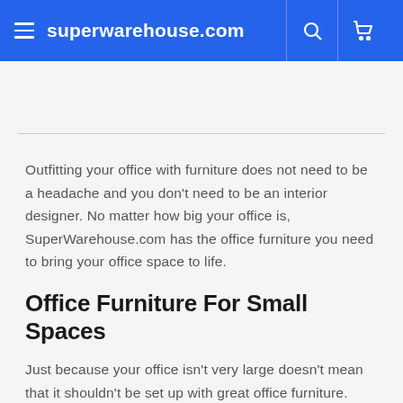superwarehouse.com
Outfitting your office with furniture does not need to be a headache and you don't need to be an interior designer. No matter how big your office is, SuperWarehouse.com has the office furniture you need to bring your office space to life.
Office Furniture For Small Spaces
Just because your office isn't very large doesn't mean that it shouldn't be set up with great office furniture. Office furniture really serves two purposes - "fashion" and function. When customers, clients, and employees enter your office,